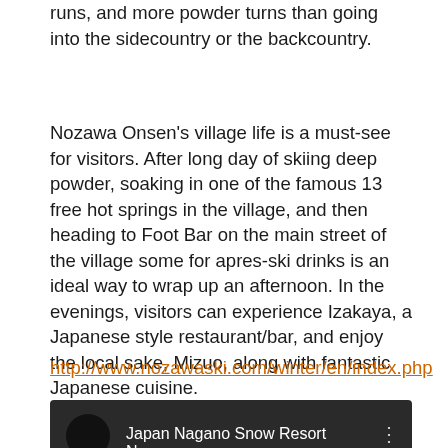runs, and more powder turns than going into the sidecountry or the backcountry.
Nozawa Onsen's village life is a must-see for visitors. After long day of skiing deep powder, soaking in one of the famous 13 free hot springs in the village, and then heading to Foot Bar on the main street of the village some for apres-ski drinks is an ideal way to wrap up an afternoon. In the evenings, visitors can experience Izakaya, a Japanese style restaurant/bar, and enjoy the local sake, Mizuo, along with fantastic Japanese cuisine.
http://www.nozawaski.com/winter/en/index.php
[Figure (screenshot): YouTube video thumbnail showing 'Japan Nagano Snow Resort Noza...' with a dark snowy background and play button]